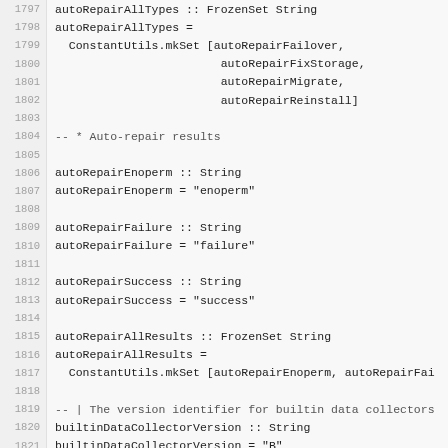1797 autoRepairAllTypes :: FrozenSet String
1798 autoRepairAllTypes =
1799   ConstantUtils.mkSet [autoRepairFailover,
1800                         autoRepairFixStorage,
1801                         autoRepairMigrate,
1802                         autoRepairReinstall]
1803
1804 -- * Auto-repair results
1805
1806 autoRepairEnoperm :: String
1807 autoRepairEnoperm = "enoperm"
1808
1809 autoRepairFailure :: String
1810 autoRepairFailure = "failure"
1811
1812 autoRepairSuccess :: String
1813 autoRepairSuccess = "success"
1814
1815 autoRepairAllResults :: FrozenSet String
1816 autoRepairAllResults =
1817   ConstantUtils.mkSet [autoRepairEnoperm, autoRepairFai
1818
1819 -- | The version identifier for builtin data collectors
1820 builtinDataCollectorVersion :: String
1821 builtinDataCollectorVersion = "B"
1822